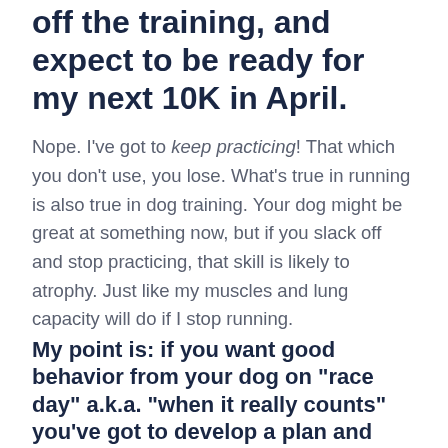off the training, and expect to be ready for my next 10K in April.
Nope. I’ve got to keep practicing! That which you don’t use, you lose. What’s true in running is also true in dog training. Your dog might be great at something now, but if you slack off and stop practicing, that skill is likely to atrophy. Just like my muscles and lung capacity will do if I stop running.
My point is: if you want good behavior from your dog on “race day” a.k.a. “when it really counts” you’ve got to develop a plan and follow it!
You can discuss your training plan during the...